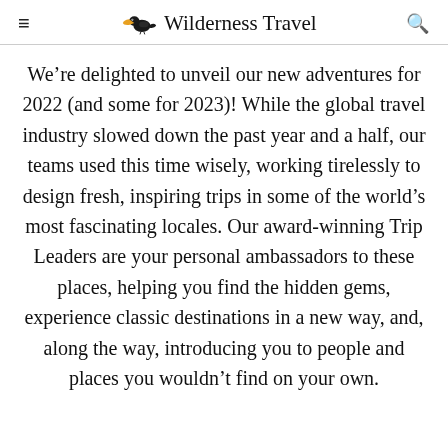≡  Wilderness Travel  🔍
We're delighted to unveil our new adventures for 2022 (and some for 2023)! While the global travel industry slowed down the past year and a half, our teams used this time wisely, working tirelessly to design fresh, inspiring trips in some of the world's most fascinating locales. Our award-winning Trip Leaders are your personal ambassadors to these places, helping you find the hidden gems, experience classic destinations in a new way, and, along the way, introducing you to people and places you wouldn't find on your own.